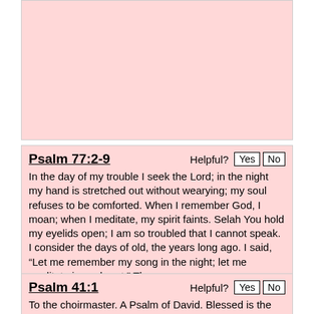[Figure (other): Pink banner/card area at top of page, no visible content]
Psalm 77:2-9
In the day of my trouble I seek the Lord; in the night my hand is stretched out without wearying; my soul refuses to be comforted. When I remember God, I moan; when I meditate, my spirit faints. Selah You hold my eyelids open; I am so troubled that I cannot speak. I consider the days of old, the years long ago. I said, “Let me remember my song in the night; let me meditate in my heart.” Then my
Psalm 41:1
To the choirmaster. A Psalm of David. Blessed is the one who considers the poor! In the day of trouble the LORD delivers him;